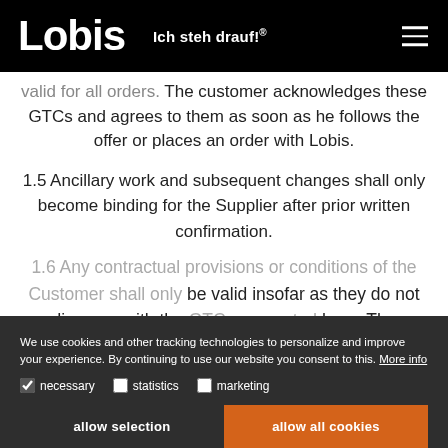Lobis — Ich steh drauf!®
valid for all orders. The customer acknowledges these GTCs and agrees to them as soon as he follows the offer or places an order with Lobis.
1.5 Ancillary work and subsequent changes shall only become binding for the Supplier after prior written confirmation.
1.6 Any contractual provisions or conditions of the Customer shall only be valid insofar as they do not disagree with the GTCs presented here. The agreement of the GTCs shall also apply to all future contractual relationships for the goods, work and provided services.
We use cookies and other tracking technologies to personalize and improve your experience. By continuing to use our website you consent to this. More info
allow selection | allow all cookies